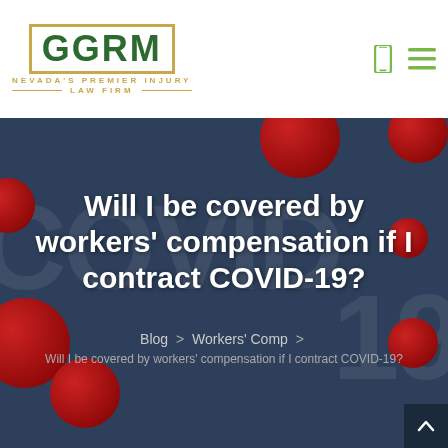[Figure (logo): GGRM law firm logo with green text in gold border, tagline Nevada's Premier Injury Law Firm]
Will I be covered by workers' compensation if I contract COVID-19?
Blog > Workers' Comp > Will I be covered by workers' compensation if I contract COVID-19?